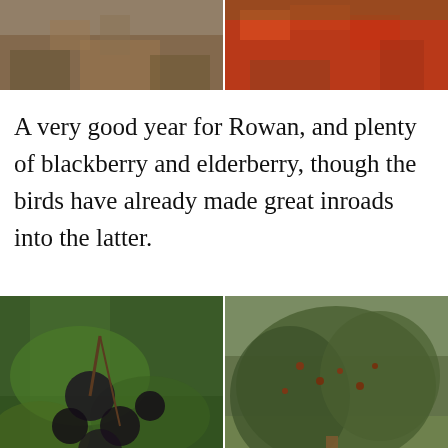[Figure (photo): Two side-by-side outdoor nature photos at the top of the page. Left photo shows brownish-red vegetation/moorland scenery. Right photo shows bright red berries (rowan) on tree branches.]
A very good year for Rowan, and plenty of blackberry and elderberry, though the birds have already made great inroads into the latter.
[Figure (photo): Two side-by-side outdoor nature photos in the middle of the page. Left photo shows clusters of dark elderberries hanging from green leafy branches. Right photo shows a large shrub or tree covered with berries in a field setting.]
We have copious sloes on the blackthorn, haws on the whitethorn, hips on the dog rose that rambles in the hedges and sticky honeysuckle fruits on the woodbine and the birds